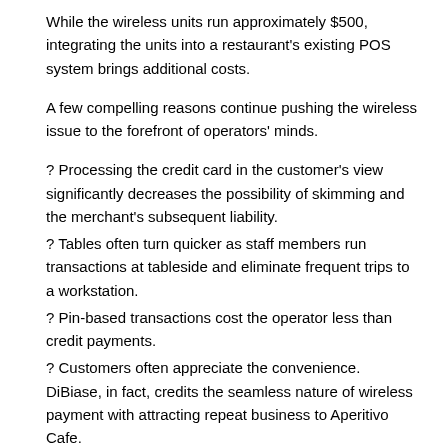While the wireless units run approximately $500, integrating the units into a restaurant's existing POS system brings additional costs.
A few compelling reasons continue pushing the wireless issue to the forefront of operators' minds.
? Processing the credit card in the customer's view significantly decreases the possibility of skimming and the merchant's subsequent liability.
? Tables often turn quicker as staff members run transactions at tableside and eliminate frequent trips to a workstation.
? Pin-based transactions cost the operator less than credit payments.
? Customers often appreciate the convenience. DiBiase, in fact, credits the seamless nature of wireless payment with attracting repeat business to Aperitivo Cafe.
Chicago-based writer Daniel P. Smith has covered business issues